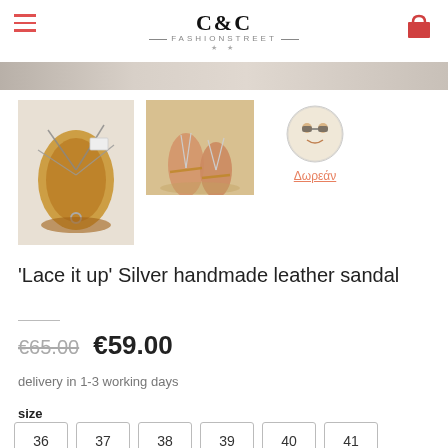C&C FASHIONSTREET
[Figure (photo): Product photo of silver lace-up leather sandal flat lay on white fur]
[Figure (photo): Product photo of sandal worn on feet on sandy surface]
[Figure (logo): Round badge/logo with Δωρεάν label (free delivery badge)]
'Lace it up' Silver handmade leather sandal
€65.00  €59.00
delivery in 1-3 working days
size
36  37  38  39  40  41